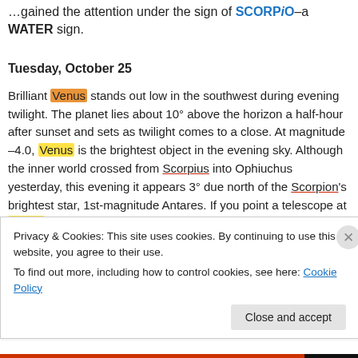…gained the attention under the sign of SCORPiO–a WATER sign.
Tuesday, October 25
Brilliant Venus stands out low in the southwest during evening twilight. The planet lies about 10° above the horizon a half-hour after sunset and sets as twilight comes to a close. At magnitude –4.0, Venus is the brightest object in the evening sky. Although the inner world crossed from Scorpius into Ophiuchus yesterday, this evening it appears 3° due north of the Scorpion's brightest star, 1st-magnitude Antares. If you point a telescope at Venus, you'll see that its 14″-diameter disk appears about 80 percent illuminated.
Privacy & Cookies: This site uses cookies. By continuing to use this website, you agree to their use. To find out more, including how to control cookies, see here: Cookie Policy